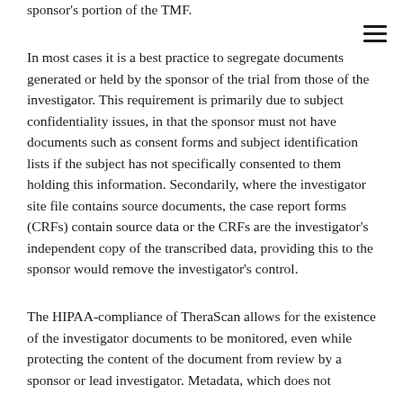sponsor's portion of the TMF.
In most cases it is a best practice to segregate documents generated or held by the sponsor of the trial from those of the investigator. This requirement is primarily due to subject confidentiality issues, in that the sponsor must not have documents such as consent forms and subject identification lists if the subject has not specifically consented to them holding this information. Secondarily, where the investigator site file contains source documents, the case report forms (CRFs) contain source data or the CRFs are the investigator's independent copy of the transcribed data, providing this to the sponsor would remove the investigator's control.
The HIPAA-compliance of TheraScan allows for the existence of the investigator documents to be monitored, even while protecting the content of the document from review by a sponsor or lead investigator. Metadata, which does not